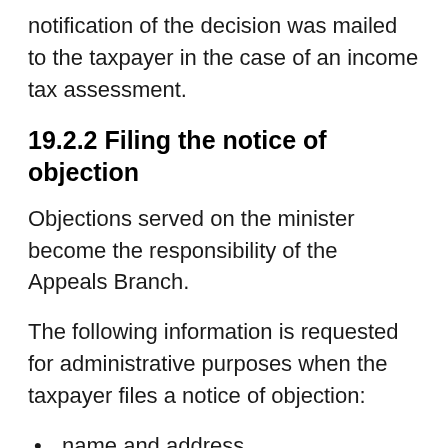notification of the decision was mailed to the taxpayer in the case of an income tax assessment.
19.2.2 Filing the notice of objection
Objections served on the minister become the responsibility of the Appeals Branch.
The following information is requested for administrative purposes when the taxpayer files a notice of objection:
name and address
telephone number
date and number of the notice of